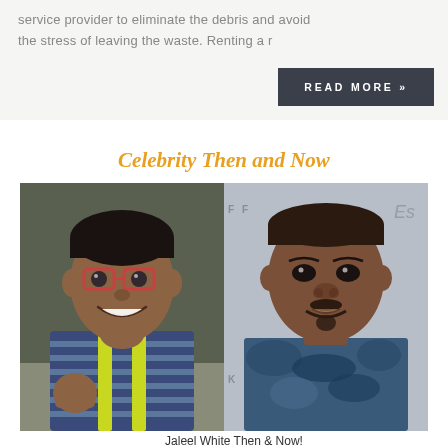service provider to eliminate the debris and avoid the stress of leaving the waste. Renting a r
READ MORE »
Celebrity Then and Now
[Figure (photo): Side-by-side photos of Jaleel White as a young child in colorful striped shirt with red glasses and yellow suspenders (left) and as an adult man in a blue camo t-shirt at an event (right)]
Jaleel White Then & Now!